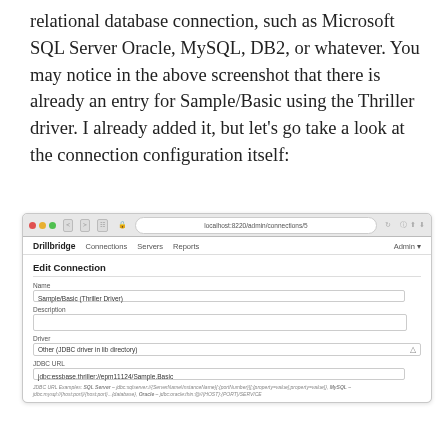relational database connection, such as Microsoft SQL Server Oracle, MySQL, DB2, or whatever. You may notice in the above screenshot that there is already an entry for Sample/Basic using the Thriller driver. I already added it, but let's go take a look at the connection configuration itself:
[Figure (screenshot): Browser screenshot showing a Drillbridge web application page at localhost:8220/admin/connections/5. The page displays an 'Edit Connection' form with fields: Name (Sample/Basic (Thriller Driver)), Description (empty), Driver (Other (JDBC driver in lib directory)), JDBC URL (jdbc:essbase.thriller://epm11124/Sample.Basic), and a JDBC URL Examples hint showing SQL Server, MySQL, and Oracle connection string formats.]